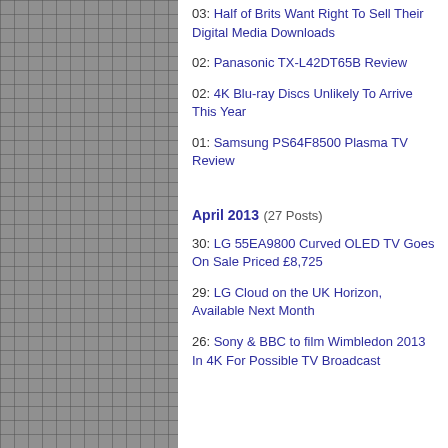03: Half of Brits Want Right To Sell Their Digital Media Downloads
02: Panasonic TX-L42DT65B Review
02: 4K Blu-ray Discs Unlikely To Arrive This Year
01: Samsung PS64F8500 Plasma TV Review
April 2013 (27 Posts)
30: LG 55EA9800 Curved OLED TV Goes On Sale Priced £8,725
29: LG Cloud on the UK Horizon, Available Next Month
26: Sony & BBC to film Wimbledon 2013 In 4K For Possible TV Broadcast